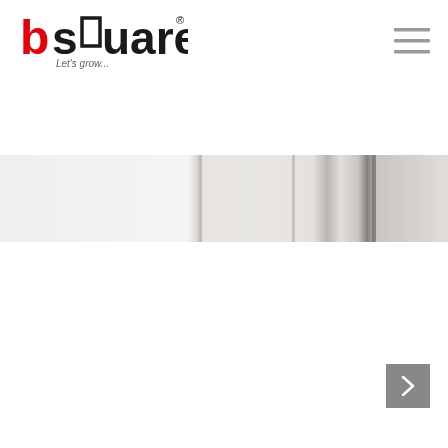[Figure (logo): bsquare logo with red 'b', dark 'square' text and square bracket graphic, tagline 'Let's grow...']
[Figure (photo): Blurred office interior banner image showing light grey architectural elements and columns]
[Figure (other): Grey navigation button with right-arrow icon in bottom-right corner]